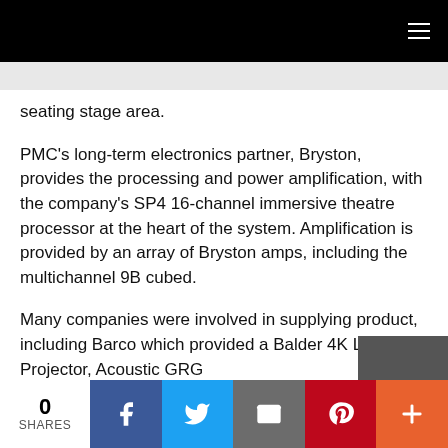Navigation bar (hamburger menu)
seating stage area.
PMC’s long-term electronics partner, Bryston, provides the processing and power amplification, with the company’s SP4 16-channel immersive theatre processor at the heart of the system. Amplification is provided by an array of Bryston amps, including the multichannel 9B cubed.
Many companies were involved in supplying product, including Barco which provided a Balder 4K Laser Projector, Acoustic GRG
0 SHARES | Facebook | Twitter | Email | Pinterest | More